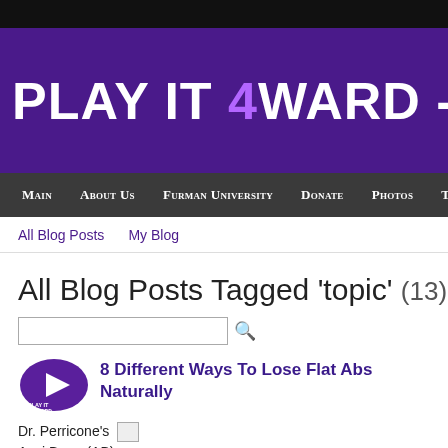PLAY IT 4WARD - SAN
Main  About Us  Furman University  Donate  Photos  Tea
All Blog Posts  My Blog
All Blog Posts Tagged 'topic' (13)
8 Different Ways To Lose Flat Abs Naturally
Dr. Perricone's Acai Berry (AB) Reduction Supplement can be obtained to work latest and the best fat redu and current market say. This is the current hot topic everywhere since your flooking at stores and is used. Some to Perricone and his Acai B